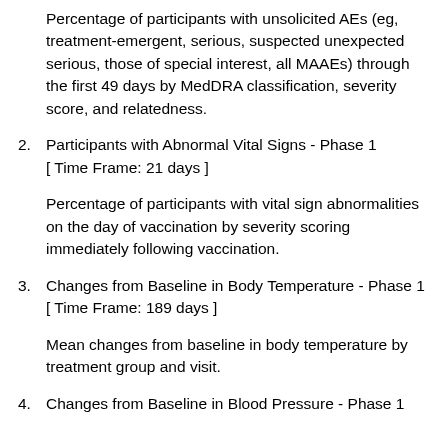Percentage of participants with unsolicited AEs (eg, treatment-emergent, serious, suspected unexpected serious, those of special interest, all MAAEs) through the first 49 days by MedDRA classification, severity score, and relatedness.
2. Participants with Abnormal Vital Signs - Phase 1 [ Time Frame: 21 days ] Percentage of participants with vital sign abnormalities on the day of vaccination by severity scoring immediately following vaccination.
3. Changes from Baseline in Body Temperature - Phase 1 [ Time Frame: 189 days ] Mean changes from baseline in body temperature by treatment group and visit.
4. Changes from Baseline in Blood Pressure - Phase 1